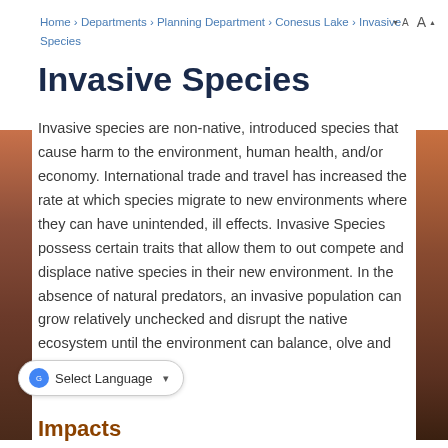Home › Departments › Planning Department › Conesus Lake › Invasive Species
Invasive Species
Invasive species are non-native, introduced species that cause harm to the environment, human health, and/or economy. International trade and travel has increased the rate at which species migrate to new environments where they can have unintended, ill effects. Invasive Species possess certain traits that allow them to out compete and displace native species in their new environment. In the absence of natural predators, an invasive population can grow relatively unchecked and disrupt the native ecosystem until the environment can balance, evolve and adapt on its own.
Impacts